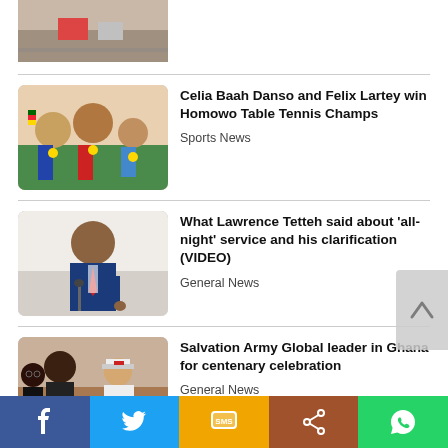[Figure (photo): Partial top news thumbnail - road/street scene]
[Figure (photo): Table tennis champions with medals and trophies]
Celia Baah Danso and Felix Lartey win Homowo Table Tennis Champs
Sports News
[Figure (photo): Lawrence Tetteh speaking at a podium in a blue suit]
What Lawrence Tetteh said about 'all-night' service and his clarification (VIDEO)
General News
[Figure (photo): Salvation Army officials shaking hands in Ghana]
Salvation Army Global leader in Ghana for centenary celebration
General News
[Figure (photo): Jose Pedraza and Richard Commey boxer portraits]
Jose Pedraza, Richard Commey fight
Facebook | Twitter | SMS | Share | WhatsApp